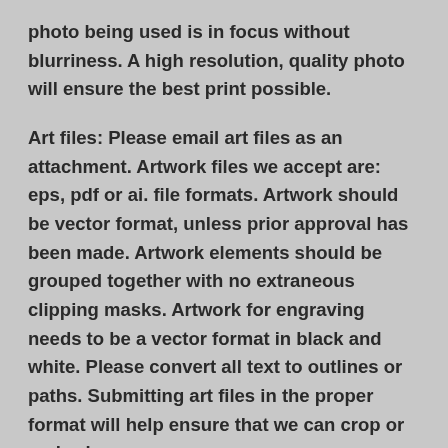photo being used is in focus without blurriness. A high resolution, quality photo will ensure the best print possible.
Art files: Please email art files as an attachment. Artwork files we accept are: eps, pdf or ai. file formats. Artwork should be vector format, unless prior approval has been made. Artwork elements should be grouped together with no extraneous clipping masks. Artwork for engraving needs to be a vector format in black and white. Please convert all text to outlines or paths. Submitting art files in the proper format will help ensure that we can crop or resize images as necessary.